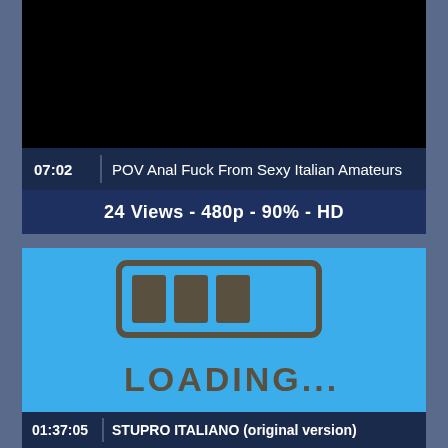[Figure (screenshot): Black video thumbnail area]
07:02   POV Anal Fuck From Sexy Italian Amateurs
24 Views - 480p - 90% - HD
[Figure (screenshot): Blue loading screen with a progress bar graphic and text LOADING...]
01:37:05   STUPRO ITALIANO (original version)